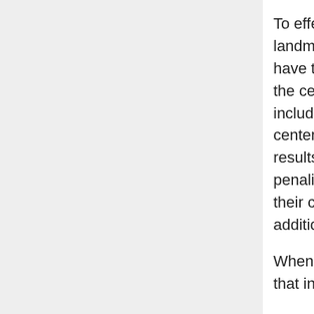To effectively determine the embedding vectors for each landmark class (centroids), the network needs to be trained to have the members of each class to be as close as possible to the centroids. Several suitable loss functions are evaluated including Contrastive Loss, Arcface, and Center loss. The center loss is selected since it achieves the optimal test results and it trains a center of embeddings of each class and penalizes distances between image embeddings as well as their class centers. In addition, the center loss is a simple addition to softmax loss and is trivial to implement.
When implementing the loss function, a new additional class that includes all non-landmark instances needs to be